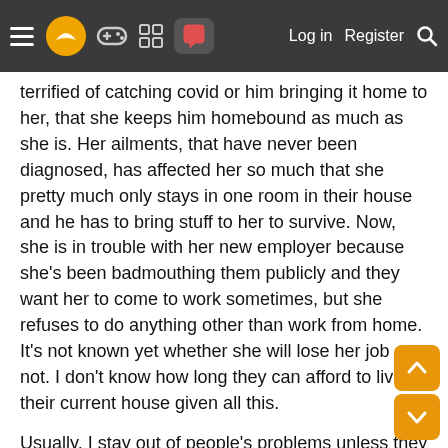Navigation bar with hamburger menu, logo, game controller icon, grid icon, active chat icon, Log in, Register, Search
terrified of catching covid or him bringing it home to her, that she keeps him homebound as much as she is. Her ailments, that have never been diagnosed, has affected her so much that she pretty much only stays in one room in their house and he has to bring stuff to her to survive. Now, she is in trouble with her new employer because she's been badmouthing them publicly and they want her to come to work sometimes, but she refuses to do anything other than work from home. It's not known yet whether she will lose her job or not. I don't know how long they can afford to live in their current house given all this.
Usually, I stay out of people's problems unless they ask for help and then I'll help out. I'm afraid he's kind of stuck in a downward spiral though and can't think straight because of being stuck in their house so much with her. She is a grade A manipulator and since he's so gullible, I'm afraid he is just stuck in misery unless someone can help pull him out.